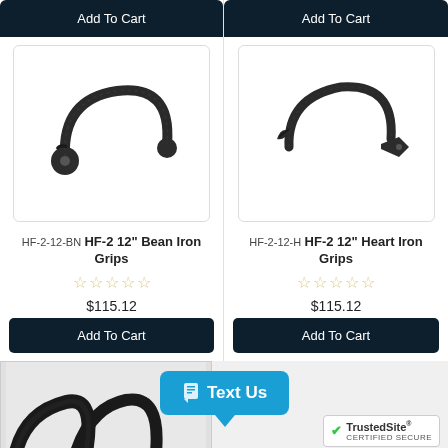[Figure (other): HF-2 12 inch Bean Iron Grip door handle, black wrought iron, arched shape with round base]
[Figure (other): HF-2 12 inch Heart Iron Grip door handle, black wrought iron, arched shape with heart-shaped base]
HF-2-12-BN HF-2 12" Bean Iron Grips
HF-2-12-H HF-2 12" Heart Iron Grips
$115.12
$115.12
[Figure (other): Partial view of wrought iron grips at the bottom of the page]
Text Us
TrustedSite CERTIFIED SECURE